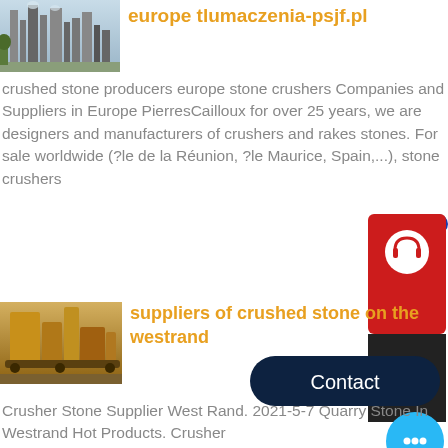[Figure (photo): Industrial stone crusher plant facility with towers and equipment, outdoor setting]
europe tlumaczenia-psjf.pl
crushed stone producers europe stone crushers Companies and Suppliers in Europe PierresCailloux for over 25 years, we are designers and manufacturers of crushers and rakes stones. For sale worldwide (?le de la Réunion, ?le Maurice, Spain,...), stone crushers
[Figure (screenshot): Chat Now customer support widget with red background and headset icon]
[Figure (screenshot): Dark navy Contact button with rounded corners]
[Figure (screenshot): Light blue circular chat bubble button]
[Figure (photo): Yellow industrial crusher machinery equipment outdoors]
suppliers of crushed stone on the westrand
Crusher Stone Supplier West Rand. 2021-5-7 Quarry Stone In Westrand Hot Products. Crusher